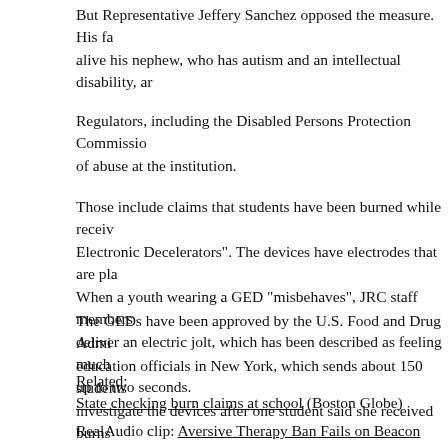But Representative Jeffery Sanchez opposed the measure. His family keeps alive his nephew, who has autism and an intellectual disability, an...
Regulators, including the Disabled Persons Protection Commission... of abuse at the institution.
Those include claims that students have been burned while receiving Electronic Decelerators". The devices have electrodes that are placed... When a youth wearing a GED "misbehaves", JRC staff members... deliver an electric jolt, which has been described as feeling much... up to two seconds.
The GEDs have been approved by the U.S. Food and Drug Administration... education officials in New York, which sends about 150 students... investigate the devices after one student said she received burns when she showered.
Related:
State checking burn claims at school (Boston Globe)
RealAudio clip: Aversive Therapy Ban Fails on Beacon Hill (WB...